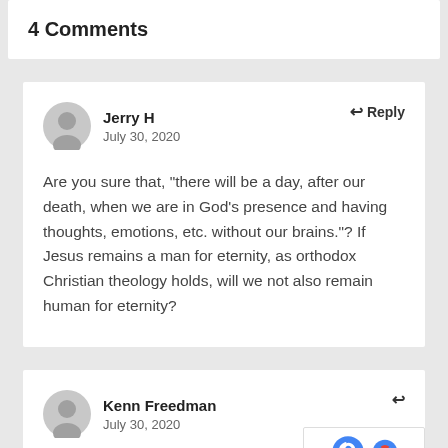4 Comments
Jerry H
July 30, 2020
Are you sure that, "there will be a day, after our death, when we are in God's presence and having thoughts, emotions, etc. without our brains."? If Jesus remains a man for eternity, as orthodox Christian theology holds, will we not also remain human for eternity?
Kenn Freedman
July 30, 2020